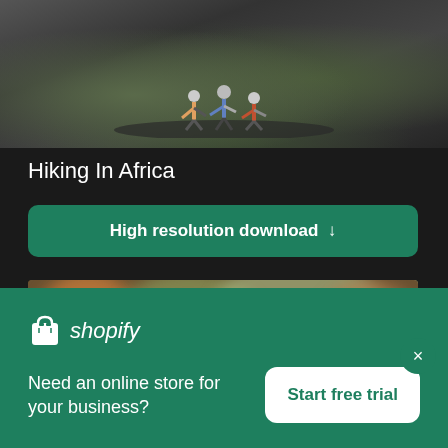[Figure (photo): Hikers walking on a rocky volcanic trail in Africa, dark moody landscape with sparse vegetation]
Hiking In Africa
High resolution download ↓
[Figure (photo): Blurred outdoor scene with warm tones suggesting people in a natural forest or camp setting]
[Figure (logo): Shopify logo — shopping bag icon and italic shopify wordmark in white]
Need an online store for your business?
Start free trial